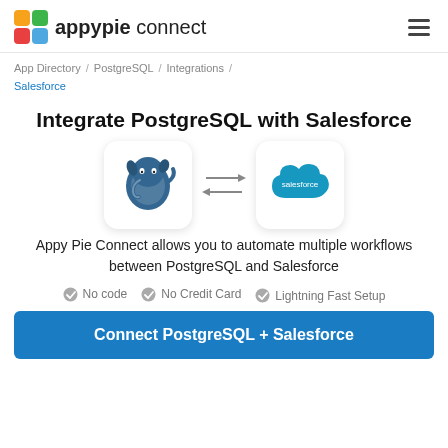appypie connect
App Directory / PostgreSQL / Integrations / Salesforce
Integrate PostgreSQL with Salesforce
[Figure (illustration): PostgreSQL elephant logo and Salesforce cloud logo with bidirectional arrows between them]
Appy Pie Connect allows you to automate multiple workflows between PostgreSQL and Salesforce
No code   No Credit Card   Lightning Fast Setup
Connect PostgreSQL + Salesforce